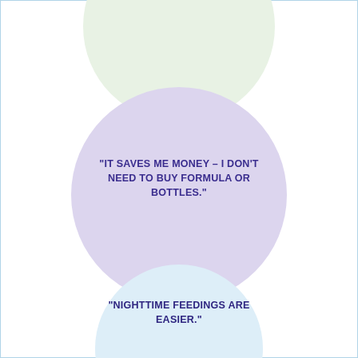[Figure (infographic): Three overlapping circles (light green top, light purple middle, light blue bottom) with quotes inside each circle about breastfeeding benefits.]
"IT SAVES ME MONEY – I DON'T NEED TO BUY FORMULA OR BOTTLES."
"NIGHTTIME FEEDINGS ARE EASIER."